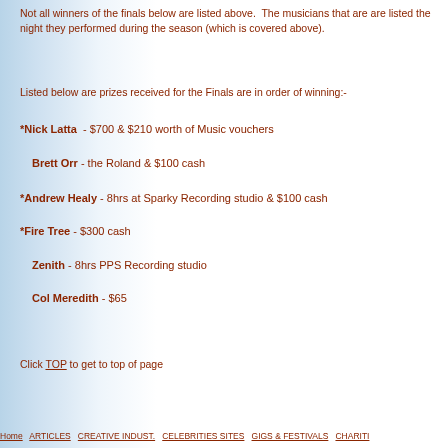Not all winners of the finals below are listed above. The musicians that are are listed the night they performed during the season (which is covered above).
Listed below are prizes received for the Finals are in order of winning:-
*Nick Latta - $700 & $210 worth of Music vouchers
Brett Orr - the Roland & $100 cash
*Andrew Healy - 8hrs at Sparky Recording studio & $100 cash
*Fire Tree - $300 cash
Zenith - 8hrs PPS Recording studio
Col Meredith - $65
Click TOP to get to top of page
Home  ARTICLES  CREATIVE INDUST.  CELEBRITIES SITES  GIGS & FESTIVALS  CHARITI...